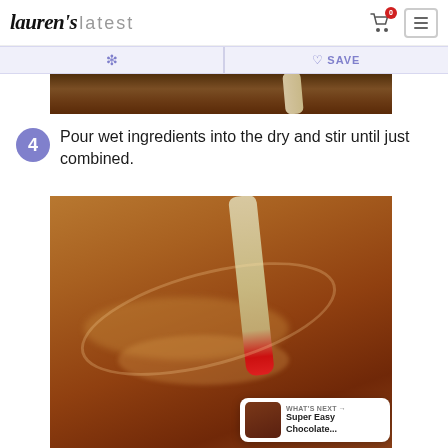Lauren's latest
[Figure (screenshot): Top portion of food photo showing brown batter in bowl with spatula, cropped]
4 Pour wet ingredients into the dry and stir until just combined.
[Figure (photo): Chocolate batter being stirred in a bowl with a red-tipped spatula]
WHAT'S NEXT → Super Easy Chocolate...